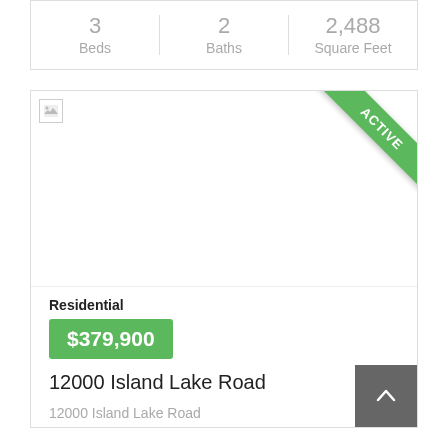3 Beds  2 Baths  2,488 Square Feet
[Figure (photo): Property listing photo with ACTIVE ribbon badge in green on top-right corner. Image appears broken/unloaded.]
Residential
$379,900
12000 Island Lake Road
12000 Island Lake Road
Dexter, Michigan 48130